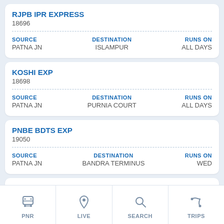RJPB IPR EXPRESS
18696
| SOURCE | DESTINATION | RUNS ON |
| --- | --- | --- |
| PATNA JN | ISLAMPUR | ALL DAYS |
KOSHI EXP
18698
| SOURCE | DESTINATION | RUNS ON |
| --- | --- | --- |
| PATNA JN | PURNIA COURT | ALL DAYS |
PNBE BDTS EXP
19050
| SOURCE | DESTINATION | RUNS ON |
| --- | --- | --- |
| PATNA JN | BANDRA TERMINUS | WED |
INDORE EXPRESS
19314
SOURCE  DESTINATION  RUNS ON
PATNA JN  INDORE JN BG  FRI
PNR  LIVE  SEARCH  TRIPS